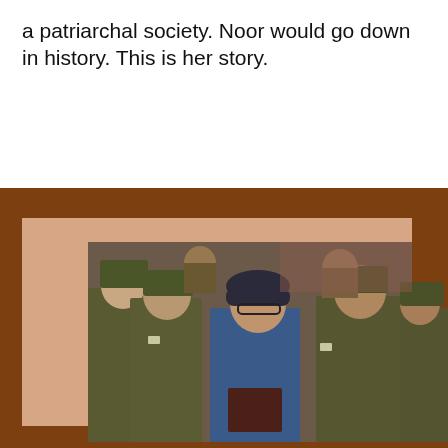a patriarchal society. Noor would go down in history. This is her story.
[Figure (photo): A man wearing a dark beret and glasses, dressed in a blue jacket, being escorted by several uniformed police officers. The man appears to be in custody, walking outdoors near a brick wall. He is carrying a dark red/maroon folder or book. The photo has a vintage, documentary photojournalism style and appears to be from the 1970s or 1980s.]